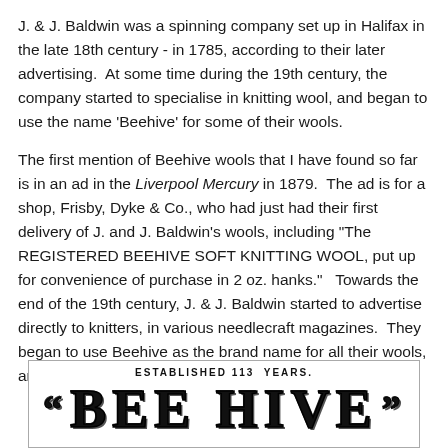J. & J. Baldwin was a spinning company set up in Halifax in the late 18th century - in 1785, according to their later advertising.  At some time during the 19th century, the company started to specialise in knitting wool, and began to use the name 'Beehive' for some of their wools.
The first mention of Beehive wools that I have found so far is in an ad in the Liverpool Mercury in 1879.  The ad is for a shop, Frisby, Dyke & Co., who had just had their first delivery of J. and J. Baldwin's wools, including "The REGISTERED BEEHIVE SOFT KNITTING WOOL, put up for convenience of purchase in 2 oz. hanks."   Towards the end of the 19th century, J. & J. Baldwin started to advertise directly to knitters, in various needlecraft magazines.  They began to use Beehive as the brand name for all their wools, and to use a trademark showing a beehive.
[Figure (illustration): Advertisement image showing 'ESTABLISHED 113 YEARS.' above large bold decorative text reading "BEE HIVE" with opening and closing quotation marks, in a bordered box.]